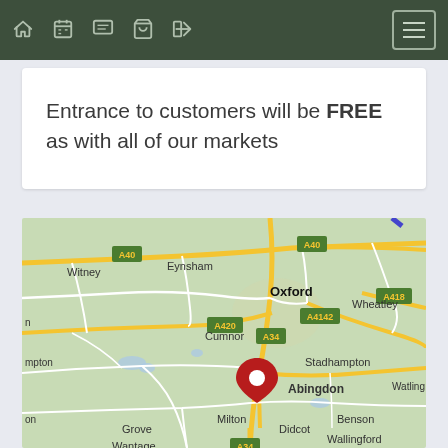[Navigation bar with home, calendar, chat, cart, login icons and hamburger menu]
Entrance to customers will be FREE as with all of our markets
[Figure (map): Google Maps view centered on Abingdon, Oxfordshire, UK, showing Oxford to the north, Eynsham, Witney (A40), Cumnor (A420, A34), Wheatley (A4142, A418), Stadhampton, Didcot, Grove, Wantage, Milton, Benson, Wallingford. A red location pin is placed on Abingdon.]